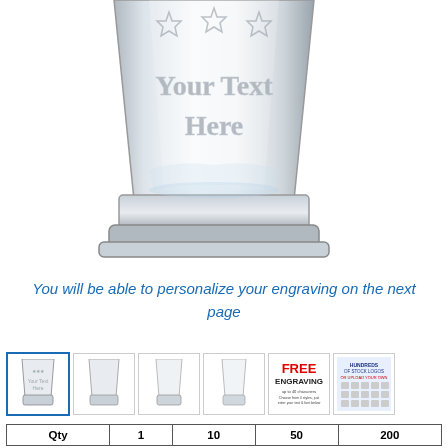[Figure (photo): Close-up photo of a clear glass tumbler with engraved stars and placeholder text 'Your Text Here' etched on the glass]
You will be able to personalize your engraving on the next page
[Figure (photo): Row of product thumbnail images: selected engraved glass, plain glass views, free engraving badge, hundreds of stock logos badge]
| Qty | 1 | 10 | 50 | 200 |
| --- | --- | --- | --- | --- |